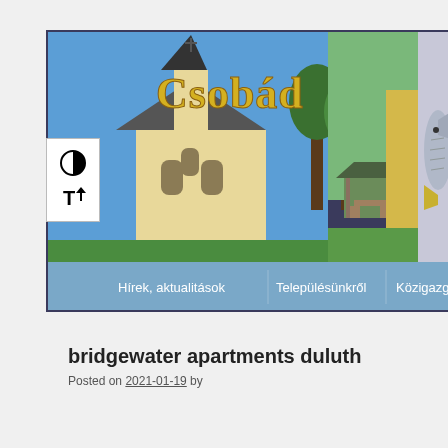[Figure (screenshot): Website banner for 'Csobád' municipality showing a church building on the left, a park pavilion in the center, and a decorative fish illustration on the right, with the text 'Csobád' overlaid in large golden serif font. Below the banner image is a navigation bar with menu items: Hírek, aktualitások | Településünkről | Közigazgatás | Intéz...]
bridgewater apartments duluth
Posted on 2021-01-19 by